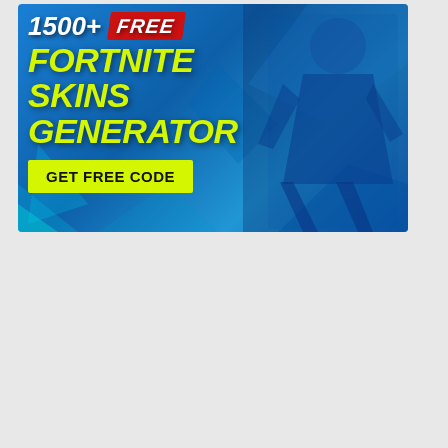[Figure (illustration): Promotional banner ad with blue background showing a Fortnite character in blue costume on the right. Text on left reads '1500+ FREE FORTNITE SKINS GENERATOR' with a yellow 'GET FREE CODE' button.]
LATEST SKINS!
Wildcat